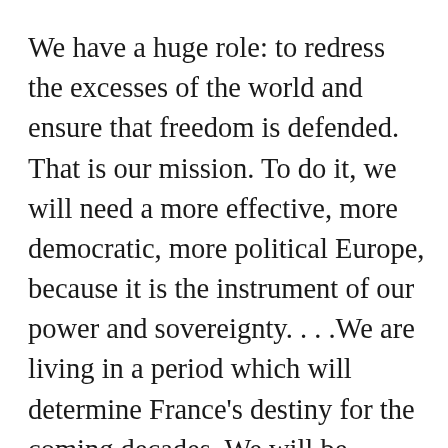We have a huge role: to redress the excesses of the world and ensure that freedom is defended. That is our mission. To do it, we will need a more effective, more democratic, more political Europe, because it is the instrument of our power and sovereignty. . . .We are living in a period which will determine France's destiny for the coming decades. We will be fighting not just for this generation, but for the generations to come. It is up to us, all of us, here and now, to determine the world in which these generations will live. This is perhaps our greatest